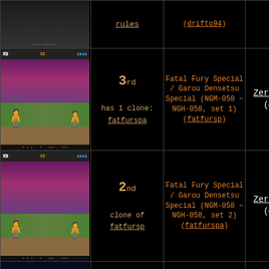| Screenshot | Rank/Clone | Game | Player | Score |
| --- | --- | --- | --- | --- |
| [screenshot] | has 1 clone: rules / (drifto94) | [game col] | [player] | 1 |
| [screenshot fatfursp1] | 3rd
has 1 clone: fatfurspa | Fatal Fury Special / Garou Densetsu Special (NGM-058 ~ NGH-058, set 1) (fatfursp) | ZeroMax (@) | 2 |
| [screenshot fatfurspa] | 2nd
clone of fatfursp | Fatal Fury Special / Garou Densetsu Special (NGM-058 ~ NGH-058, set 2) (fatfurspa) | ZeroMax (@) | 0 |
| [screenshot 3] |  | Fatal Fury - King of Fighters / Garou |  |  |